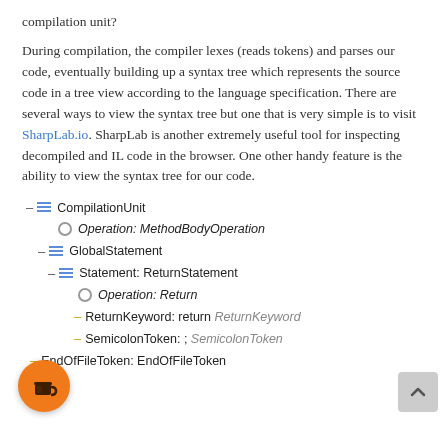compilation unit?
During compilation, the compiler lexes (reads tokens) and parses our code, eventually building up a syntax tree which represents the source code in a tree view according to the language specification. There are several ways to view the syntax tree but one that is very simple is to visit SharpLab.io. SharpLab is another extremely useful tool for inspecting decompiled and IL code in the browser. One other handy feature is the ability to view the syntax tree for our code.
[Figure (screenshot): Syntax tree diagram showing CompilationUnit, Operation: MethodBodyOperation, GlobalStatement, Statement: ReturnStatement, Operation: Return, ReturnKeyword: return ReturnKeyword, SemicolonToken: ; SemicolonToken, EndOfFileToken: EndOfFileToken]